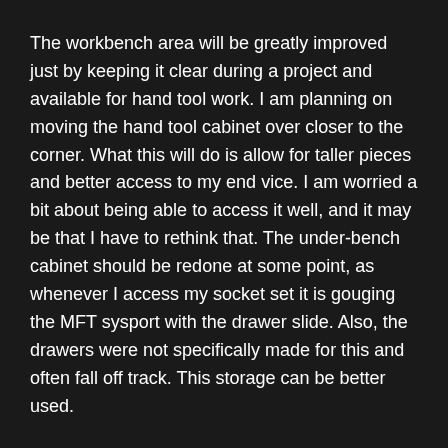The workbench area will be greatly improved just by keeping it clear during a project and available for hand tool work. I am planning on moving the hand tool cabinet over closer to the corner. What this will do is allow for taller pieces and better access to my end vice. I am worried a bit about being able to access it well, and it may be that I have to rethink that. The under-bench cabinet should be redone at some point, as whenever I access my socket set it is gouging the MFT sysport with the drawer slide. Also, the drawers were not specifically made for this and often fall off track. This storage can be better used.
The miter saw/systainer cabinets suffered greatly from junk. My spare batteries and the Bosch chargers littered the surface. These have all now found a home, including wall mounting the Bosch charger (and I'll mount the other